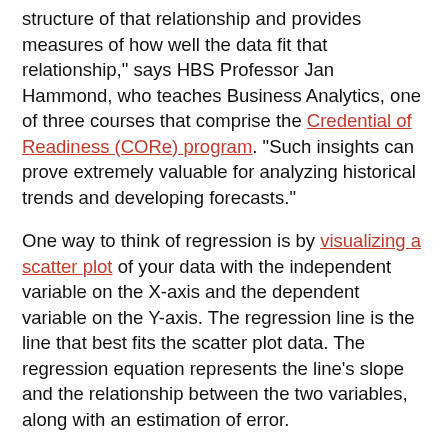structure of that relationship and provides measures of how well the data fit that relationship," says HBS Professor Jan Hammond, who teaches Business Analytics, one of three courses that comprise the Credential of Readiness (CORe) program. "Such insights can prove extremely valuable for analyzing historical trends and developing forecasts."
One way to think of regression is by visualizing a scatter plot of your data with the independent variable on the X-axis and the dependent variable on the Y-axis. The regression line is the line that best fits the scatter plot data. The regression equation represents the line’s slope and the relationship between the two variables, along with an estimation of error.
Physically creating this scatter plot can be a natural starting point for parsing out the relationships between variables.